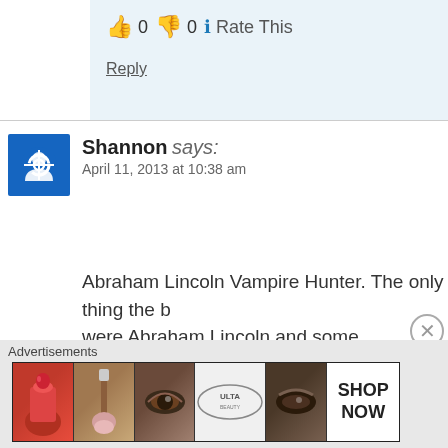👍 0 👎 0 ℹ Rate This
Reply
Shannon says: April 11, 2013 at 10:38 am
Abraham Lincoln Vampire Hunter. The only thing the b... were Abraham Lincoln and some vampires.
★ Like
👍 1 👎 0 ℹ Rate This
Reply
Advertisements
[Figure (screenshot): Advertisement banner with beauty product images and ULTA logo with SHOP NOW text]